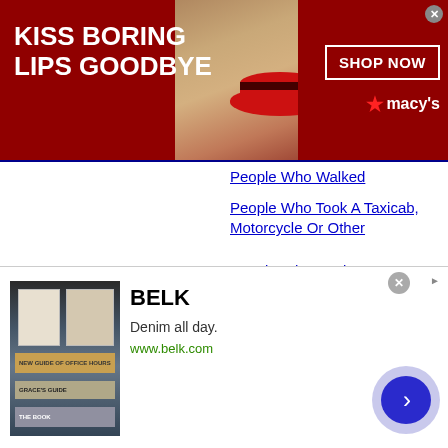[Figure (screenshot): Macy's advertisement banner with red background, model face with red lips, text 'KISS BORING LIPS GOODBYE', 'SHOP NOW' button, Macy's star logo]
People Who Walked
People Who Took A Taxicab, Motorcycle Or Other
People Who Work From Home
People Who Drove Alone
People Who Carpooled
People Who Take The Bus
People Who Take A Subway Or Elevated Rail
People Who Take The Long-Distance Train Or Commuter Rail
[Figure (screenshot): Belk advertisement with book/clothing imagery, 'BELK' title, 'Denim all day.', 'www.belk.com', forward arrow button]